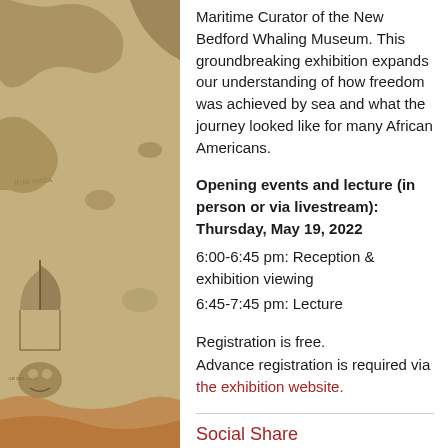[Figure (illustration): Antique maritime map illustration showing landmasses, sea creatures, and a sailing ship against aged parchment background]
Maritime Curator of the New Bedford Whaling Museum. This groundbreaking exhibition expands our understanding of how freedom was achieved by sea and what the journey looked like for many African Americans.
Opening events and lecture (in person or via livestream): Thursday, May 19, 2022
6:00-6:45 pm: Reception & exhibition viewing
6:45-7:45 pm: Lecture
Registration is free. Advance registration is required via the exhibition website.
Social Share